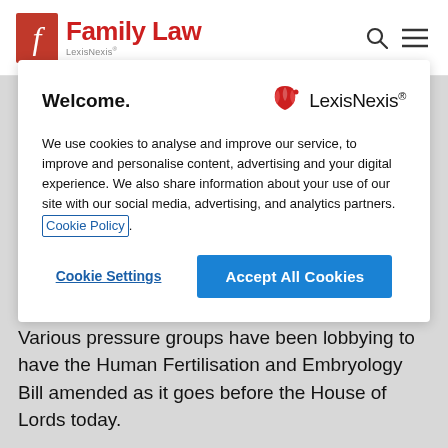Family Law LexisNexis
Welcome.
We use cookies to analyse and improve our service, to improve and personalise content, advertising and your digital experience. We also share information about your use of our site with our social media, advertising, and analytics partners. Cookie Policy.
Cookie Settings
Accept All Cookies
Various pressure groups have been lobbying to have the Human Fertilisation and Embryology Bill amended as it goes before the House of Lords today.